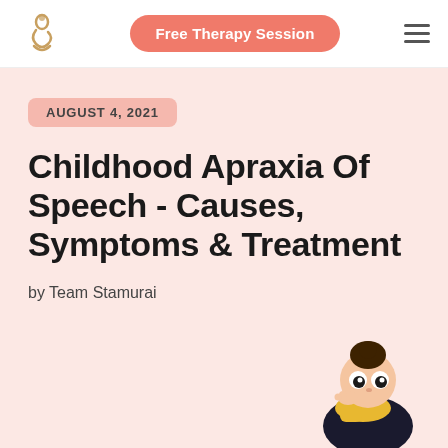Free Therapy Session
AUGUST 4, 2021
Childhood Apraxia Of Speech - Causes, Symptoms & Treatment
by Team Stamurai
[Figure (illustration): Cartoon illustration of a child character with dark hair in a bun, wearing a black outfit with a yellow scarf, looking thoughtful with hand near face, positioned in bottom-right corner]